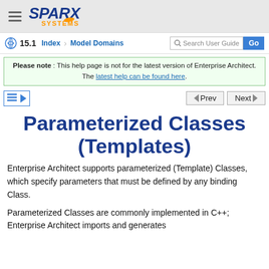SPARX SYSTEMS
15.1  Index  Model Domains  Search User Guide  Go
Please note : This help page is not for the latest version of Enterprise Architect. The latest help can be found here.
Parameterized Classes (Templates)
Enterprise Architect supports parameterized (Template) Classes, which specify parameters that must be defined by any binding Class.
Parameterized Classes are commonly implemented in C++; Enterprise Architect imports and generates